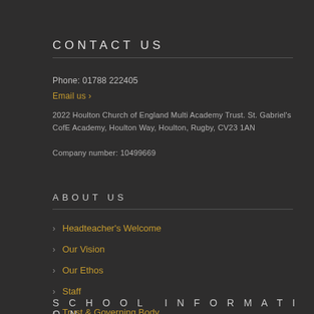CONTACT US
Phone: 01788 222405
Email us ›
2022 Houlton Church of England Multi Academy Trust. St. Gabriel's CofE Academy, Houlton Way, Houlton, Rugby, CV23 1AN
Company number: 10499669
ABOUT US
Headteacher's Welcome
Our Vision
Our Ethos
Staff
Trust & Governing Body
SCHOOL INFORMATION